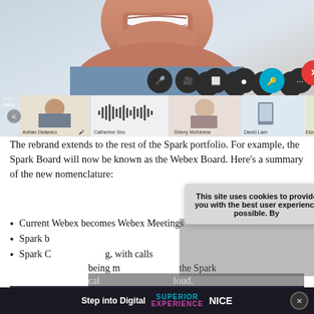[Figure (screenshot): Cisco Webex video call interface showing participants: Adrian Delanico, Catherine Siru, Sherry McKenna, David Lam, Elizabeth W. Toolbar with mute, video, share, record, key (blue), more, and end call (red) buttons. Large smiling face in background.]
The rebrand extends to the rest of the Spark portfolio. For example, the Spark Board will now be known as the Webex Board. Here's a summary of the new nomenclature:
Current Webex becomes Webex Meetings
Spark becomes Webex Teams
Spark Calling becomes Webex Calling, with calls being made from Webex, replacing the Spark calling app. Calls will run in the cloud. Over time, as CCP will sunset ReadSoft for
[Figure (screenshot): Cookie consent popup: 'This site uses cookies to provide you with the best user experience possible. By' with X close button]
[Figure (infographic): Bottom ad bar: Step into Digital SUPERIENCE EXPERIENCE NICE]